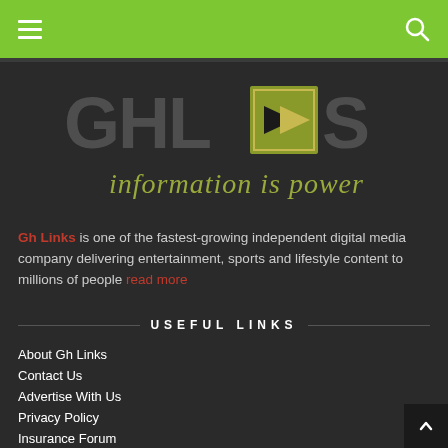Navigation bar with hamburger menu and search icon
[Figure (logo): GhLinks logo with stylized text 'GHLINKS' in dark grey, a yellow-green arrow/chevron shape, and italic tagline 'information is power']
Gh Links is one of the fastest-growing independent digital media company delivering entertainment, sports and lifestyle content to millions of people read more
USEFUL LINKS
About Gh Links
Contact Us
Advertise With Us
Privacy Policy
Insurance Forum
Copyright